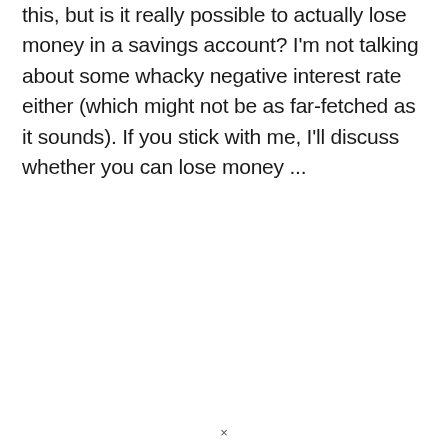this, but is it really possible to actually lose money in a savings account? I'm not talking about some whacky negative interest rate either (which might not be as far-fetched as it sounds). If you stick with me, I'll discuss whether you can lose money ...
×